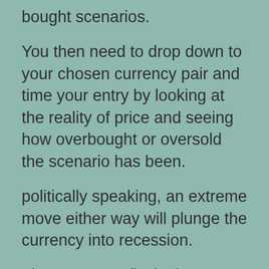bought scenarios.
You then need to drop down to your chosen currency pair and time your entry by looking at the reality of price and seeing how overbought or oversold the scenario has been.
politically speaking, an extreme move either way will plunge the currency into recession.
The way to profits is drop below the support or resistance level and enter a contrary trade.
So how do you do this?
You wait for the moment of the actual breakd...